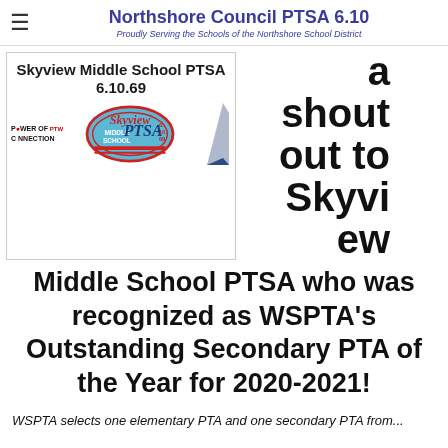Northshore Council PTSA 6.10 — Proudly Serving the Schools of the Northshore School District
[Figure (logo): Skyview Middle School PTSA 6.10.69 banner with oval Skyview PTSA logo, Power of Connection PTA logo, and a blue angular shape]
a shout out to Skyview ew
Middle School PTSA who was recognized as WSPTA's Outstanding Secondary PTA of the Year for 2020-2021!
WSPTA selects one elementary PTA and one secondary PTA from...